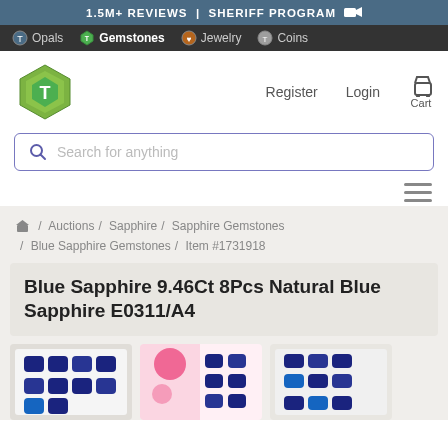1.5M+ REVIEWS | SHERIFF PROGRAM
Opals | Gemstones | Jewelry | Coins
[Figure (logo): Green diamond-shaped logo with T letter]
Register  Login  Cart
Search for anything
Auctions / Sapphire / Sapphire Gemstones / Blue Sapphire Gemstones / Item #1731918
Blue Sapphire 9.46Ct 8Pcs Natural Blue Sapphire E0311/A4
[Figure (photo): Three photos of blue sapphire gemstones arranged in a grid pattern]